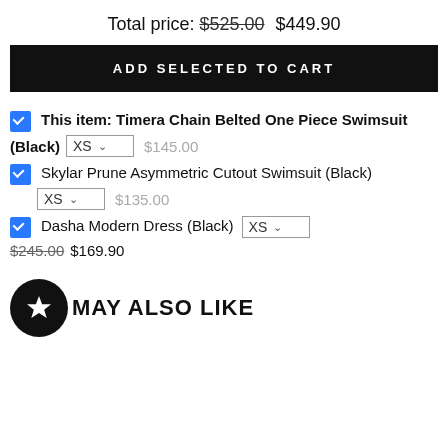Total price: $525.00 $449.90
ADD SELECTED TO CART
This item: Timera Chain Belted One Piece Swimsuit (Black) XS $145.00
Skylar Prune Asymmetric Cutout Swimsuit (Black) XS $135.00
Dasha Modern Dress (Black) XS $245.00 $169.90
MAY ALSO LIKE